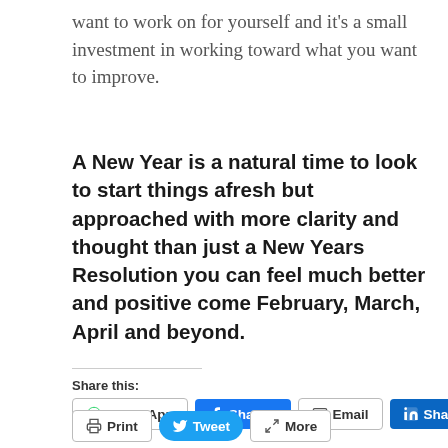want to work on for yourself and it's a small investment in working toward what you want to improve.
A New Year is a natural time to look to start things afresh but approached with more clarity and thought than just a New Years Resolution you can feel much better and positive come February, March, April and beyond.
Share this:
WhatsApp  Share 0  Email  Share  Print  Tweet  More